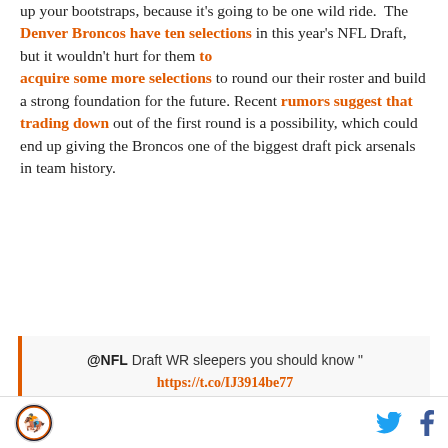up your bootstraps, because it's going to be one wild ride. The Denver Broncos have ten selections in this year's NFL Draft, but it wouldn't hurt for them to acquire some more selections to round our their roster and build a strong foundation for the future. Recent rumors suggest that trading down out of the first round is a possibility, which could end up giving the Broncos one of the biggest draft pick arsenals in team history.
@NFL Draft WR sleepers you should know " https://t.co/IJ3914be77 pic.twitter.com/wdunyIKohX